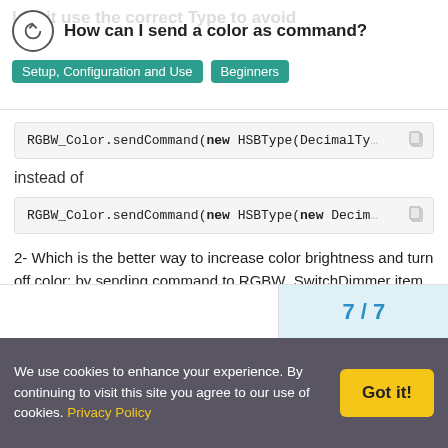How can I send a color as command?
Setup, Configuration and Use   Beginners
RGBW_Color.sendCommand(new HSBType(DecimalTy...
instead of
RGBW_Color.sendCommand(new HSBType(new DecimalT...
2- Which is the better way to increase color brightness and turn off color: by sending command to RGBW_SwitchDimmer item, or changing saturation and brightness of RGBW_Color item ?
7 / 7
We use cookies to enhance your experience. By continuing to visit this site you agree to our use of cookies. Privacy Policy